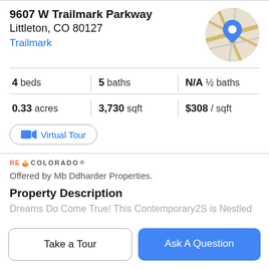9607 W Trailmark Parkway
Littleton, CO 80127
Trailmark
[Figure (map): Circular map thumbnail showing street map with a blue location pin marker]
4 beds | 5 baths | N/A ½ baths
0.33 acres | 3,730 sqft | $308 / sqft
Virtual Tour
[Figure (logo): RE/COLORADO logo with flame icon]
Offered by Mb Ddharder Properties.
Property Description
Dreams Do Come True! This Contemporary2S is Nestled